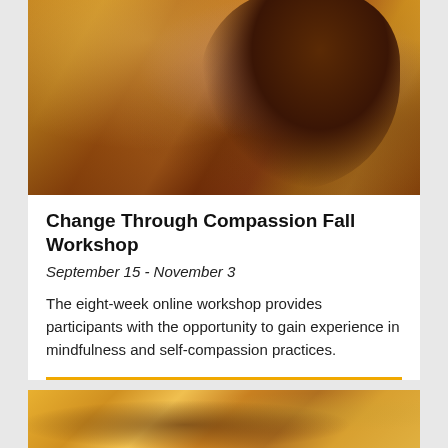[Figure (photo): Photo of a person with long hair wearing a red/orange striped scarf or blanket, viewed from behind, in warm autumn outdoor lighting]
Change Through Compassion Fall Workshop
September 15 - November 3
The eight-week online workshop provides participants with the opportunity to gain experience in mindfulness and self-compassion practices.
SEE DETAILS
[Figure (photo): Partial photo showing hands in warm golden/amber tones, possibly a handshake or hands together, in autumn lighting]